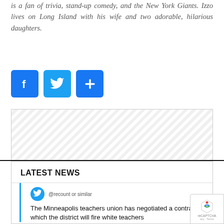is a fan of trivia, stand-up comedy, and the New York Giants. Izzo lives on Long Island with his wife and two adorable, hilarious daughters.
[Figure (other): Three social sharing buttons: Facebook (f), Twitter (bird icon), and a share/plus button, all in blue rounded square icons]
[Figure (other): Advertisement placeholder block with diagonal stripe pattern]
LATEST NEWS
The Minneapolis teachers union has negotiated a contract in which the district will fire white teachers